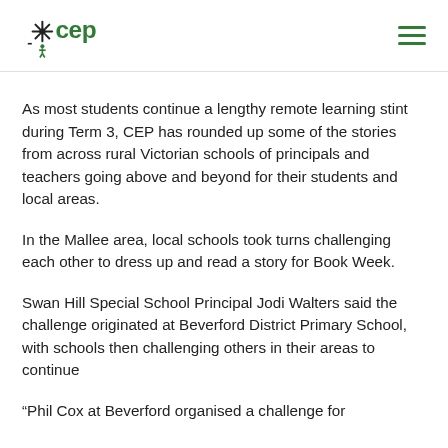CEP logo and navigation
As most students continue a lengthy remote learning stint during Term 3, CEP has rounded up some of the stories from across rural Victorian schools of principals and teachers going above and beyond for their students and local areas.
In the Mallee area, local schools took turns challenging each other to dress up and read a story for Book Week.
Swan Hill Special School Principal Jodi Walters said the challenge originated at Beverford District Primary School, with schools then challenging others in their areas to continue
“Phil Cox at Beverford organised a challenge for